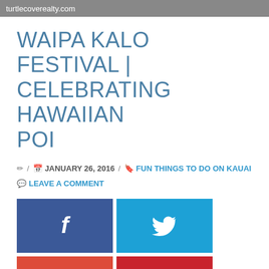turtlecoverealty.com
WAIPA KALO FESTIVAL | CELEBRATING HAWAIIAN POI
✏ / 📅 JANUARY 26, 2016 / 🔖 FUN THINGS TO DO ON KAUAI 💬 LEAVE A COMMENT
[Figure (infographic): Social share buttons: Facebook (f), Twitter (bird), Google+ (G+), Pinterest (P), LinkedIn (in)]
The Waipa Kalo Festival is a wonderful and informative Kauai event you must attend while here on the Garden Isle. A rich weekend of activities and cultural information...